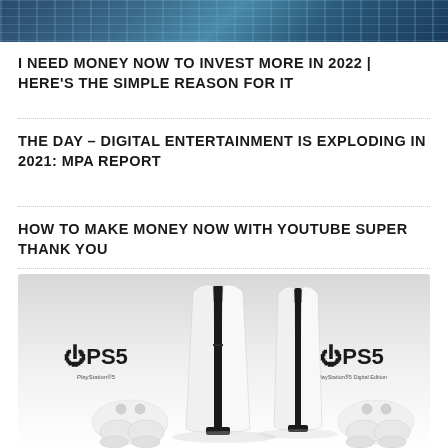[Figure (photo): Top banner image showing a building with glass windows, blue tones]
I NEED MONEY NOW TO INVEST MORE IN 2022 | HERE'S THE SIMPLE REASON FOR IT
THE DAY – DIGITAL ENTERTAINMENT IS EXPLODING IN 2021: MPA REPORT
HOW TO MAKE MONEY NOW WITH YOUTUBE SUPER THANK YOU
[Figure (photo): PlayStation 5 (PS5) console and PS5 Digital Edition with controllers on white background]